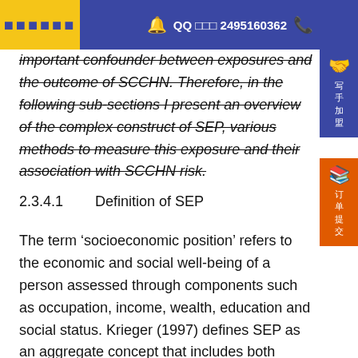QQ 2495160362
important confounder between exposures and the outcome of SCCHN. Therefore, in the following sub-sections I present an overview of the complex construct of SEP, various methods to measure this exposure and their association with SCCHN risk.
2.3.4.1       Definition of SEP
The term ‘socioeconomic position’ refers to the economic and social well-being of a person assessed through components such as occupation, income, wealth, education and social status. Krieger (1997) defines SEP as an aggregate concept that includes both resource based (income, wealth, education) and prestige based